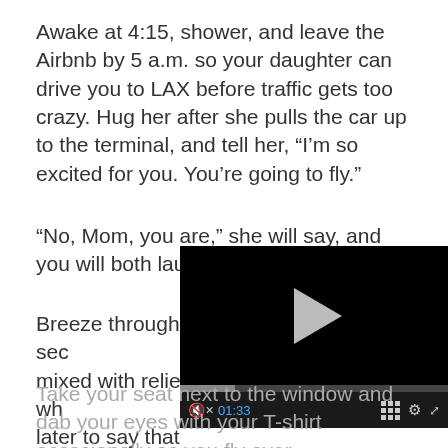Awake at 4:15, shower, and leave the Airbnb by 5 a.m. so your daughter can drive you to LAX before traffic gets too crazy. Hug her after she pulls the car up to the terminal, and tell her, “I’m so excited for you. You’re going to fly.”
“No, Mom, you are,” she will say, and you will both laugh.
Breeze through sec mixed with relief wh later to say that the than she’d expecte down the jetway to
[Figure (other): Embedded video player showing a black screen with a play button, progress bar, and controls including mute icon, timestamp 01:33, grid icon, settings gear, and expand icon.]
Take your seat next to the window and dab your eyes with your T-shirt occasionally as you fly over